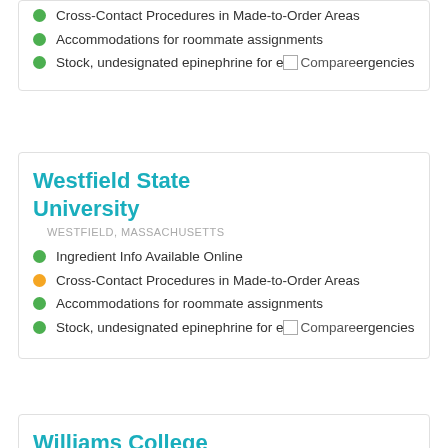Cross-Contact Procedures in Made-to-Order Areas
Accommodations for roommate assignments
Stock, undesignated epinephrine for emergencies
Westfield State University
WESTFIELD, MASSACHUSETTS
Ingredient Info Available Online
Cross-Contact Procedures in Made-to-Order Areas
Accommodations for roommate assignments
Stock, undesignated epinephrine for emergencies
Williams College